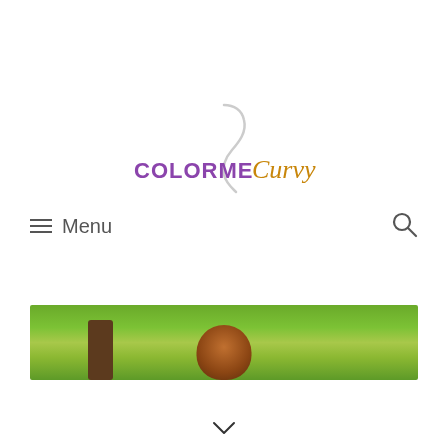[Figure (logo): ColorMeCurvy logo with purple 'COLORME' and gold italic 'Curvy' text, with a decorative curved white/light stroke above]
≡  Menu
[Figure (photo): Photo of a person with reddish-brown hair outdoors among green foliage and trees]